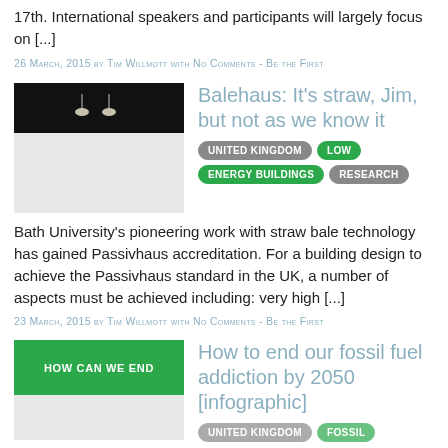17th. International speakers and participants will largely focus on [...]
26 March, 2015 by Tim Willmott with No Comments - Be the First
[Figure (photo): Thumbnail image showing dark ceiling lights on black background with light gray area below]
Balehaus: It’s straw, Jim, but not as we know it
UNITED KINGDOM  LOW  ENERGY BUILDINGS  RESEARCH
Bath University’s pioneering work with straw bale technology has gained Passivhaus accreditation. For a building design to achieve the Passivhaus standard in the UK, a number of aspects must be achieved including: very high [...]
23 March, 2015 by Tim Willmott with No Comments - Be the First
[Figure (photo): Thumbnail image with green banner text HOW CAN WE END]
How to end our fossil fuel addiction by 2050 [infographic]